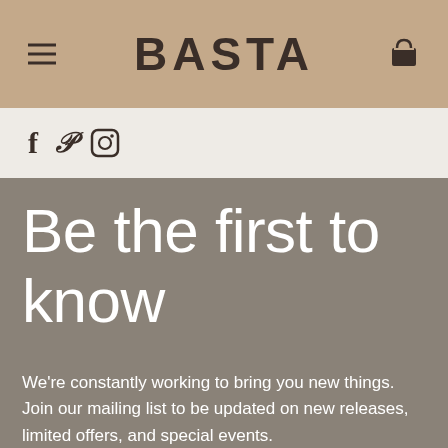BASTA
f  p  ⊡
Be the first to know
We're constantly working to bring you new things. Join our mailing list to be updated on new releases, limited offers, and special events.